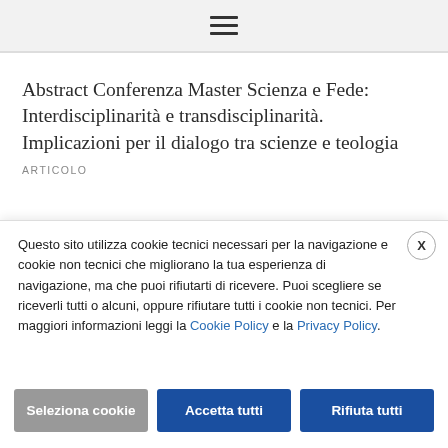≡
Abstract Conferenza Master Scienza e Fede: Interdisciplinarità e transdisciplinarità. Implicazioni per il dialogo tra scienze e teologia
ARTICOLO
Questo sito utilizza cookie tecnici necessari per la navigazione e cookie non tecnici che migliorano la tua esperienza di navigazione, ma che puoi rifiutarti di ricevere. Puoi scegliere se riceverli tutti o alcuni, oppure rifiutare tutti i cookie non tecnici. Per maggiori informazioni leggi la Cookie Policy e la Privacy Policy.
Seleziona cookie | Accetta tutti | Rifiuta tutti